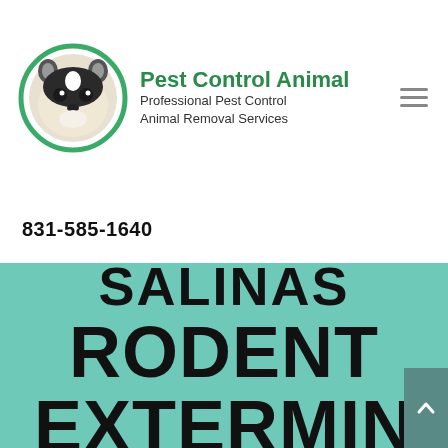[Figure (logo): Pest Control Animal logo: circular badge with cartoon raccoon/skunk face, green border, with company name and tagline]
Pest Control Animal
Professional Pest Control Animal Removal Services
831-585-1640
SALINAS RODENT EXTERMIN ATOR